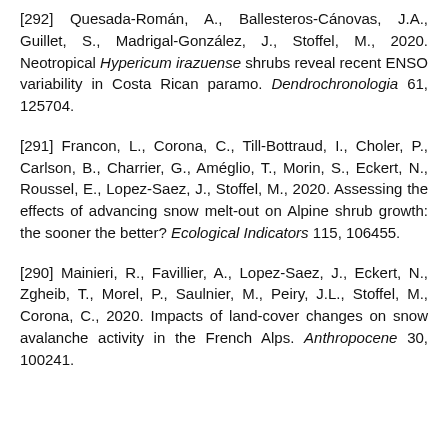[292] Quesada-Román, A., Ballesteros-Cánovas, J.A., Guillet, S., Madrigal-González, J., Stoffel, M., 2020. Neotropical Hypericum irazuense shrubs reveal recent ENSO variability in Costa Rican paramo. Dendrochronologia 61, 125704.
[291] Francon, L., Corona, C., Till-Bottraud, I., Choler, P., Carlson, B., Charrier, G., Améglio, T., Morin, S., Eckert, N., Roussel, E., Lopez-Saez, J., Stoffel, M., 2020. Assessing the effects of advancing snow melt-out on Alpine shrub growth: the sooner the better? Ecological Indicators 115, 106455.
[290] Mainieri, R., Favillier, A., Lopez-Saez, J., Eckert, N., Zgheib, T., Morel, P., Saulnier, M., Peiry, J.L., Stoffel, M., Corona, C., 2020. Impacts of land-cover changes on snow avalanche activity in the French Alps. Anthropocene 30, 100241.